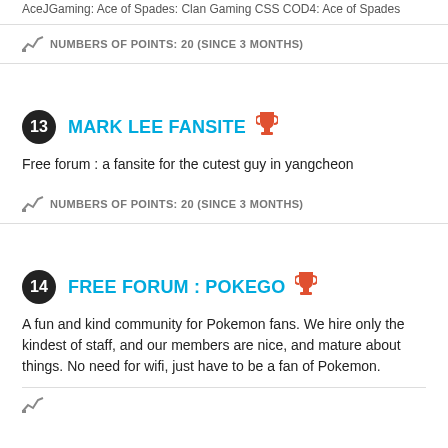AceJGaming: Ace of Spades: Clan Gaming CSS COD4: Ace of Spades
NUMBERS OF POINTS: 20 (SINCE 3 MONTHS)
13 MARK LEE FANSITE
Free forum : a fansite for the cutest guy in yangcheon
NUMBERS OF POINTS: 20 (SINCE 3 MONTHS)
14 FREE FORUM : POKEGO
A fun and kind community for Pokemon fans. We hire only the kindest of staff, and our members are nice, and mature about things. No need for wifi, just have to be a fan of Pokemon.
NUMBERS OF POINTS: 20 (SINCE 3 MONTHS)